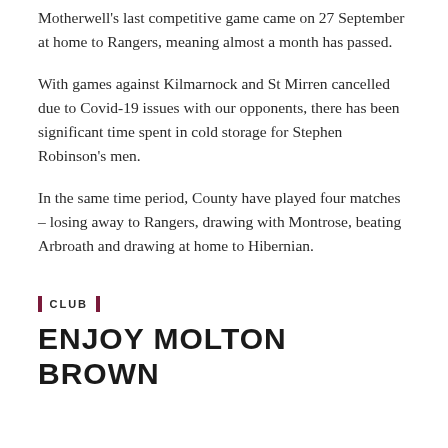Motherwell's last competitive game came on 27 September at home to Rangers, meaning almost a month has passed.
With games against Kilmarnock and St Mirren cancelled due to Covid-19 issues with our opponents, there has been significant time spent in cold storage for Stephen Robinson's men.
In the same time period, County have played four matches – losing away to Rangers, drawing with Montrose, beating Arbroath and drawing at home to Hibernian.
CLUB
ENJOY MOLTON BROWN